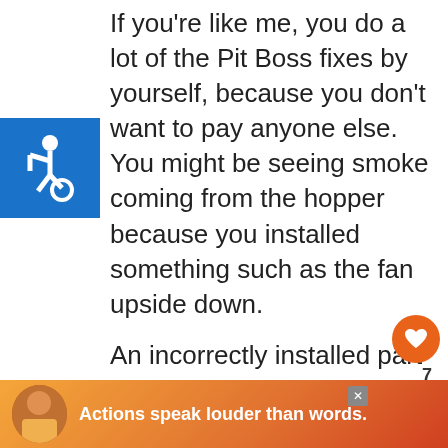If you're like me, you do a lot of the Pit Boss fixes by yourself, because you don't want to pay anyone else. You might be seeing smoke coming from the hopper because you installed something such as the fan upside down.
An incorrectly installed part can cause the pellet grill malfunction. For example if a fan is installed upside down, the fan will push air
[Figure (other): Accessibility icon (wheelchair symbol) in a blue square in the upper left]
[Figure (other): Orange circular heart/like button on the right side]
[Figure (other): Gray circular share button with a '7' count above it on the right side]
[Figure (other): WHAT'S NEXT promo box showing '17 Unusual Foods You...' with a thumbnail image]
[Figure (other): Advertisement banner at the bottom: 'Actions speak louder than words.' with a person image on a colorful background, with an X close button]